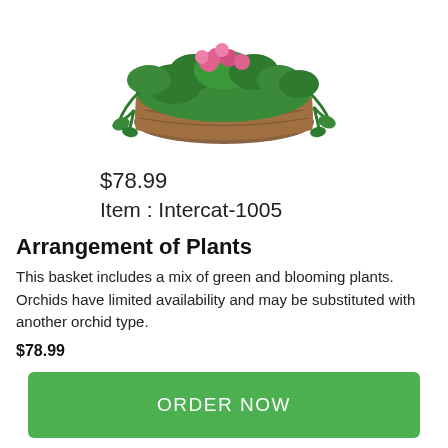[Figure (photo): A wicker basket arrangement containing a mix of green leafy plants and pink blooming flowers (orchids), viewed from slightly above.]
$78.99
Item : Intercat-1005
Arrangement of Plants
This basket includes a mix of green and blooming plants. Orchids have limited availability and may be substituted with another orchid type.
$78.99
ORDER NOW